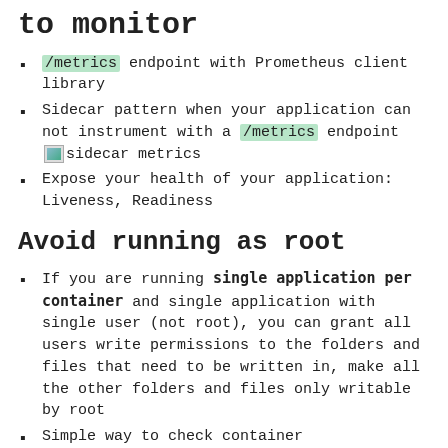to monitor
/metrics endpoint with Prometheus client library
Sidecar pattern when your application can not instrument with a /metrics endpoint [sidecar metrics image] sidecar metrics
Expose your health of your application: Liveness, Readiness
Avoid running as root
If you are running single application per container and single application with single user (not root), you can grant all users write permissions to the folders and files that need to be written in, make all the other folders and files only writable by root
Simple way to check container